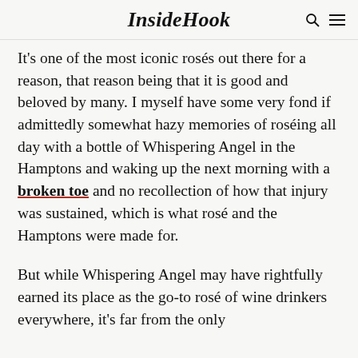InsideHook
It's one of the most iconic rosés out there for a reason, that reason being that it is good and beloved by many. I myself have some very fond if admittedly somewhat hazy memories of roséing all day with a bottle of Whispering Angel in the Hamptons and waking up the next morning with a broken toe and no recollection of how that injury was sustained, which is what rosé and the Hamptons were made for.
But while Whispering Angel may have rightfully earned its place as the go-to rosé of wine drinkers everywhere, it's far from the only